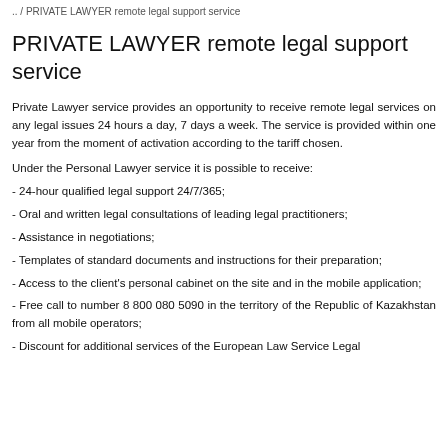.. / PRIVATE LAWYER remote legal support service
PRIVATE LAWYER remote legal support service
Private Lawyer service provides an opportunity to receive remote legal services on any legal issues 24 hours a day, 7 days a week. The service is provided within one year from the moment of activation according to the tariff chosen.
Under the Personal Lawyer service it is possible to receive:
- 24-hour qualified legal support 24/7/365;
- Oral and written legal consultations of leading legal practitioners;
- Assistance in negotiations;
- Templates of standard documents and instructions for their preparation;
- Access to the client's personal cabinet on the site and in the mobile application;
- Free call to number 8 800 080 5090 in the territory of the Republic of Kazakhstan from all mobile operators;
- Discount for additional services of the European Law Service Legal